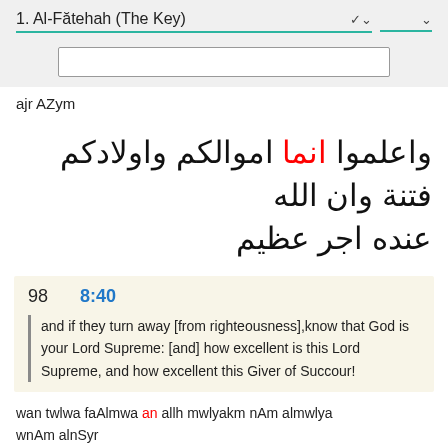1. Al-Fătehah (The Key)
[Figure (screenshot): Search input box (empty text field)]
ajr AZym
واعلموا انما اموالكم واولادكم فتنة وان الله عنده اجر عظيم
98   8:40
and if they turn away [from righteousness],know that God is your Lord Supreme: [and] how excellent is this Lord Supreme, and how excellent this Giver of Succour!
wan twlwa faAlmwa an allh mwlyakm nAm almwlya wnAm alnSyr